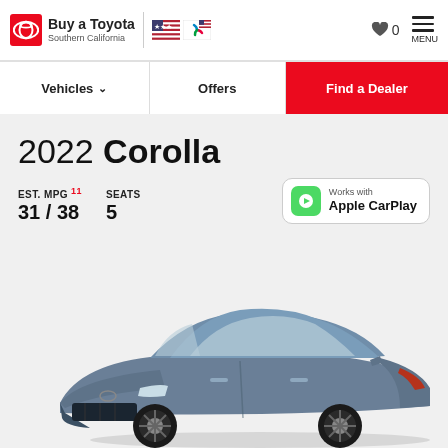Buy a Toyota | Southern California
2022 Corolla
EST. MPG 11 31 / 38   SEATS 5
[Figure (logo): Works with Apple CarPlay badge]
[Figure (photo): 2022 Toyota Corolla sedan in blue-gray, three-quarter front view]